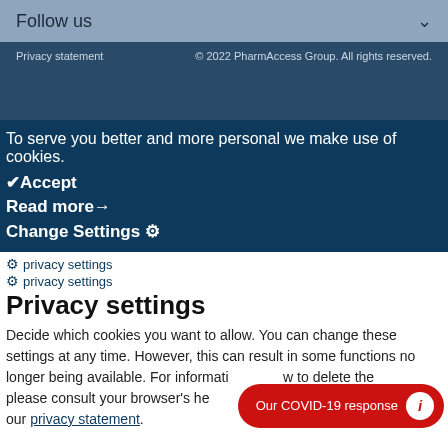Follow us
Privacy statement   © 2022 PharmAccess Group. All rights reserved.
To serve you better and more personal we make use of cookies.
✔Accept
Read more→
Change Settings ⚙
⚙ privacy settings
⚙ privacy settings
Privacy settings
Decide which cookies you want to allow. You can change these settings at any time. However, this can result in some functions no longer being available. For information on how to delete the cookies, please consult your browser's help function. Learn more about the cookies we use via our privacy statement.